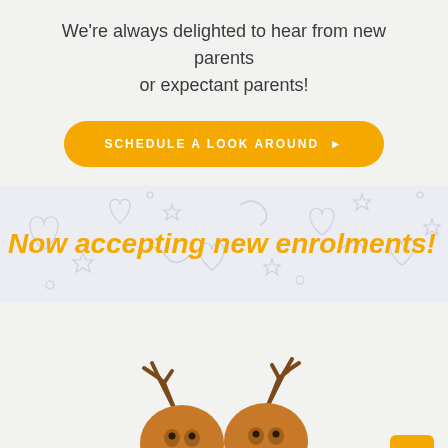We're always delighted to hear from new parents or expectant parents!
SCHEDULE A LOOK AROUND ▶
Now accepting new enrolments!
[Figure (illustration): Cartoon reindeer heads peeking up from the bottom of the page with antlers visible]